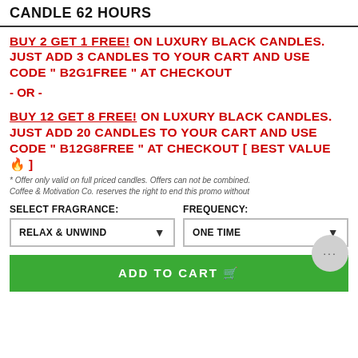CANDLE 62 HOURS
BUY 2 GET 1 FREE! ON LUXURY BLACK CANDLES. JUST ADD 3 CANDLES TO YOUR CART AND USE CODE " B2G1FREE " AT CHECKOUT
- OR -
BUY 12 GET 8 FREE! ON LUXURY BLACK CANDLES. JUST ADD 20 CANDLES TO YOUR CART AND USE CODE " B12G8FREE " AT CHECKOUT [ BEST VALUE 🔥 ]
* Offer only valid on full priced candles. Offers can not be combined. Coffee & Motivation Co. reserves the right to end this promo without
SELECT FRAGRANCE: RELAX & UNWIND
FREQUENCY: ONE TIME
ADD TO CART 🛒